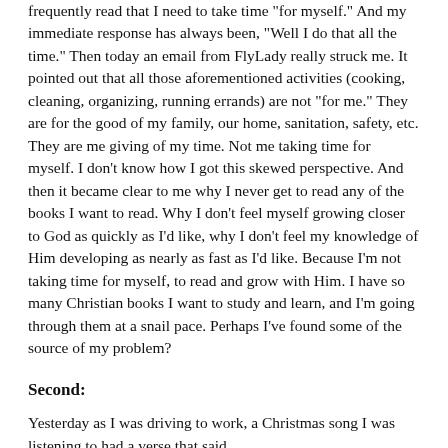frequently read that I need to take time "for myself."  And my immediate response has always been, "Well I do that all the time."  Then today an email from FlyLady really struck me.  It pointed out that all those aforementioned activities (cooking, cleaning, organizing, running errands) are not "for me."  They are for the good of my family, our home, sanitation, safety, etc.  They are me giving of my time.  Not me taking time for myself.  I don't know how I got this skewed perspective.  And then it became clear to me why I never get to read any of the books I want to read.  Why I don't feel myself growing closer to God as quickly as I'd like, why I don't feel my knowledge of Him developing as nearly as fast as I'd like.  Because I'm not taking time for myself, to read and grow with Him.  I have so many Christian books I want to study and learn, and I'm going through them at a snail pace.  Perhaps I've found some of the source of my problem?
Second:
Yesterday as I was driving to work, a Christmas song I was listening to had a verse that said
Mary shivers in the cold